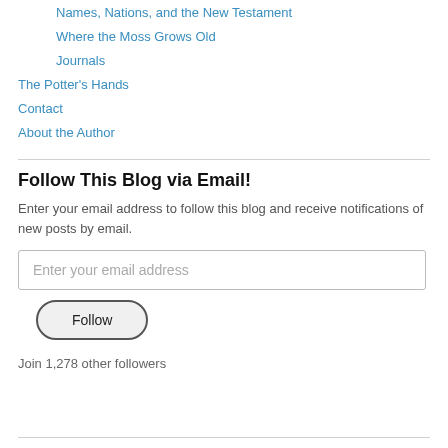Names, Nations, and the New Testament
Where the Moss Grows Old
Journals
The Potter's Hands
Contact
About the Author
Follow This Blog via Email!
Enter your email address to follow this blog and receive notifications of new posts by email.
Enter your email address
Follow
Join 1,278 other followers